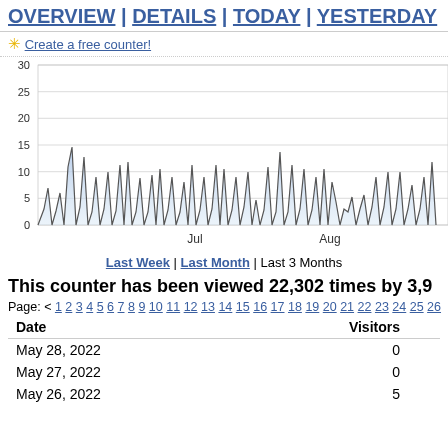OVERVIEW | DETAILS | TODAY | YESTERDAY
✳ Create a free counter!
[Figure (area-chart): Area chart showing visitor traffic spikes repeatedly between 0 and 30, with x-axis labels Jul and Aug]
Last Week | Last Month | Last 3 Months
This counter has been viewed 22,302 times by 3,9
Page: < 1 2 3 4 5 6 7 8 9 10 11 12 13 14 15 16 17 18 19 20 21 22 23 24 25 26
| Date | Visitors |
| --- | --- |
| May 28, 2022 | 0 |
| May 27, 2022 | 0 |
| May 26, 2022 | 5 |